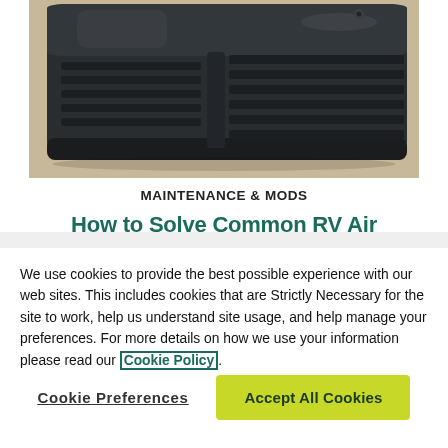[Figure (photo): Close-up photo of a dark grey/black RV air conditioner unit on a rooftop, showing vented grilles and rounded edges on a light beige/tan surface background.]
MAINTENANCE & MODS
How to Solve Common RV Air
We use cookies to provide the best possible experience with our web sites. This includes cookies that are Strictly Necessary for the site to work, help us understand site usage, and help manage your preferences. For more details on how we use your information please read our Cookie Policy.
Cookie Preferences
Accept All Cookies